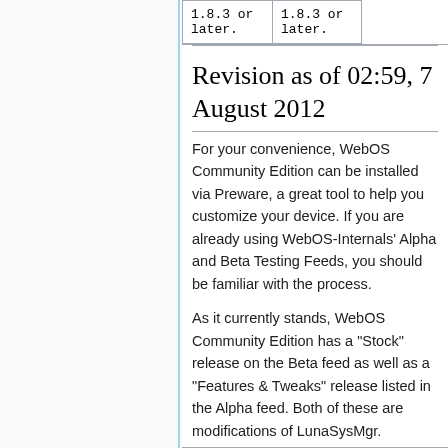| 1.8.3 or later. | 1.8.3 or later. |
Revision as of 02:59, 7 August 2012
For your convenience, WebOS Community Edition can be installed via Preware, a great tool to help you customize your device. If you are already using WebOS-Internals' Alpha and Beta Testing Feeds, you should be familiar with the process.
As it currently stands, WebOS Community Edition has a "Stock" release on the Beta feed as well as a "Features & Tweaks" release listed in the Alpha feed. Both of these are modifications of LunaSysMgr.